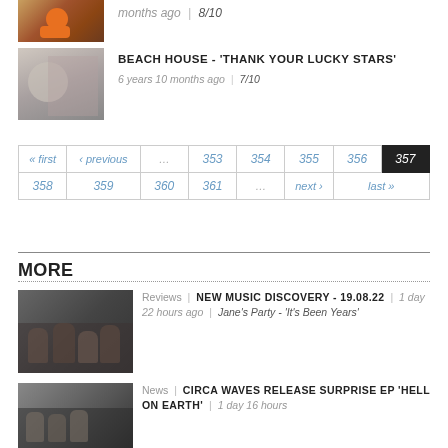[Figure (photo): Small album thumbnail with orange/brown toy figure]
months ago | 8/10
[Figure (photo): Black and white photo of a woman]
BEACH HOUSE - 'THANK YOUR LUCKY STARS' | 6 years 10 months ago | 7/10
| « first | ‹ previous | ... | 353 | 354 | 355 | 356 | 357 |
| 358 | 359 | 360 | 361 | ... | next › | last » |
MORE
[Figure (photo): Band photo of four people]
Reviews | NEW MUSIC DISCOVERY - 19.08.22 | 1 day 22 hours ago | Jane's Party - 'It's Been Years'
[Figure (photo): Black and white band photo]
News | CIRCA WAVES RELEASE SURPRISE EP 'HELL ON EARTH' | 1 day 16 hours